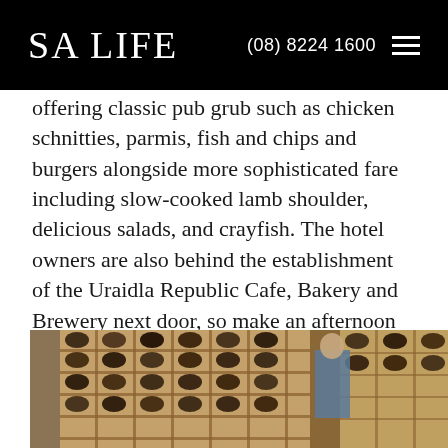SA LIFE  (08) 8224 1600
offering classic pub grub such as chicken schnitties, parmis, fish and chips and burgers alongside more sophisticated fare including slow-cooked lamb shoulder, delicious salads, and crayfish. The hotel owners are also behind the establishment of the Uraidla Republic Cafe, Bakery and Brewery next door, so make an afternoon of it by staying for lunch, followed by coffee and cake.
[Figure (photo): Photo of wine cellar/wine rack with bottles stored in wooden cubbies, warm toned lighting]